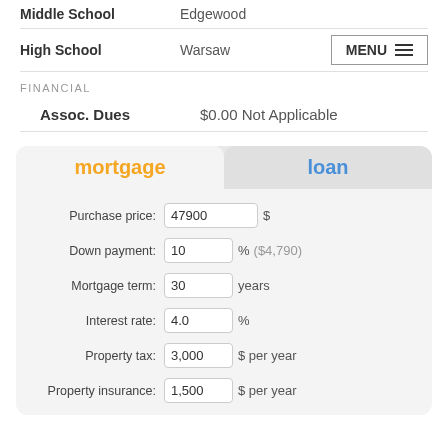| Label | Value |
| --- | --- |
| Middle School | Edgewood |
| High School | Warsaw |
FINANCIAL
| Label | Value |
| --- | --- |
| Assoc. Dues | $0.00 Not Applicable |
[Figure (screenshot): Mortgage/Loan calculator widget with tabs for 'mortgage' (active, orange) and 'loan' (blue). Fields: Purchase price: 47900 $, Down payment: 10 % ($4,790), Mortgage term: 30 years, Interest rate: 4.0 %, Property tax: 3,000 $ per year, Property insurance: 1,500 $ per year.]